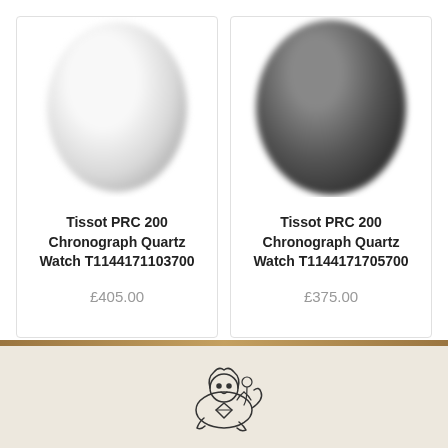[Figure (photo): Two product cards showing Tissot PRC 200 watches side by side. Left card shows a white/silver dial watch (blurred). Right card shows a dark/black dial watch (blurred).]
Tissot PRC 200 Chronograph Quartz Watch T1144171103700
£405.00
Tissot PRC 200 Chronograph Quartz Watch T1144171705700
£375.00
[Figure (logo): Jeweller brand logo showing a lion/beast figure with a diamond, outline illustration style, on a cream/beige background.]